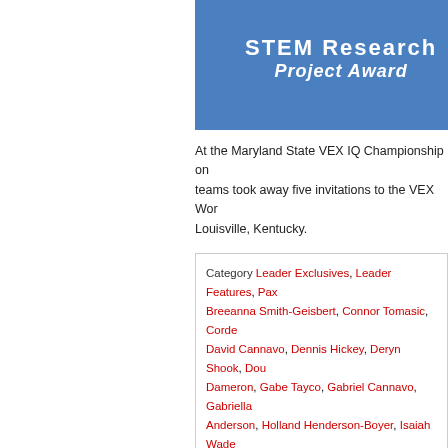[Figure (photo): Photo of person wearing blue shirt with 'STEM Research Project Award' text visible]
At the Maryland State VEX IQ Championship on teams took away five invitations to the VEX Wor Louisville, Kentucky.
Category Leader Exclusives, Leader Features, Pax Breeanna Smith-Geisbert, Connor Tomasic, Corde David Cannavo, Dennis Hickey, Deryn Shook, Dou Dameron, Gabe Tayco, Gabriel Cannavo, Gabriella Anderson, Holland Henderson-Boyer, Isaiah Wade Jasemine Edison, Julia Sullivan, Landon McDowell Heitmeyer, Luis Quinones, Maryland State VEX IQ Michael Shook, Morgan Anderson, Patuxent Partne Ridge Elementary School Robotics Team, Riley Ed Ryan Lowe, STEM, The Patuxent Partnership, TPF Competition, World VEX Championship
CSM Participates